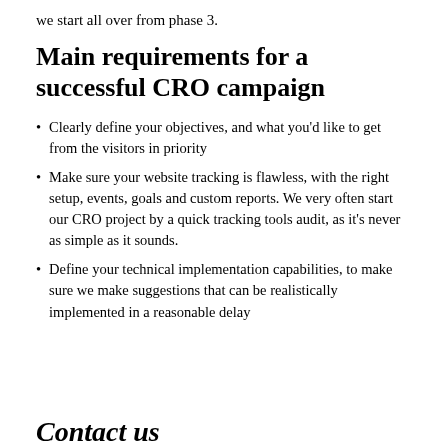we start all over from phase 3.
Main requirements for a successful CRO campaign
Clearly define your objectives, and what you'd like to get from the visitors in priority
Make sure your website tracking is flawless, with the right setup, events, goals and custom reports. We very often start our CRO project by a quick tracking tools audit, as it's never as simple as it sounds.
Define your technical implementation capabilities, to make sure we make suggestions that can be realistically implemented in a reasonable delay
Contact us